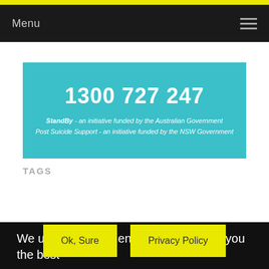Menu
1300 727 247
StandBy - an initiative funded by the Australian Government
Post Suicide Support - an initiative funded by the NSW Government
TAGS
We use cookies to ensure that we give you the best experience on our website. If you continue to use this site we will assume that you are happy with it.
Ok, Sure
Privacy Policy